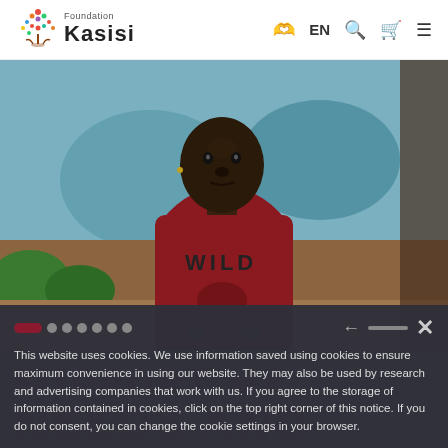Foundation Kasisi — navigation bar with logo, EN, search, cart, and menu icons
[Figure (photo): Portrait of a young African boy wearing a dark red hoodie with 'WILD' printed on it, standing in front of a colorful mural background with green bushes]
SUPPORT MY
NEEDS AND
This website uses cookies. We use information saved using cookies to ensure maximum convenience in using our website. They may also be used by research and advertising companies that work with us. If you agree to the storage of information contained in cookies, click on the top right corner of this notice. If you do not consent, you can change the cookie settings in your browser.